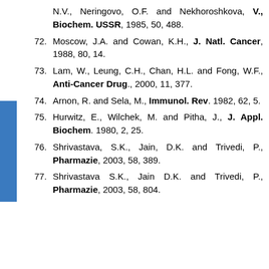N.V., Neringovo, O.F. and Nekhoroshkova, V., Biochem. USSR, 1985, 50, 488.
72. Moscow, J.A. and Cowan, K.H., J. Natl. Cancer, 1988, 80, 14.
73. Lam, W., Leung, C.H., Chan, H.L. and Fong, W.F., Anti-Cancer Drug., 2000, 11, 377.
74. Arnon, R. and Sela, M., Immunol. Rev. 1982, 62, 5.
75. Hurwitz, E., Wilchek, M. and Pitha, J., J. Appl. Biochem. 1980, 2, 25.
76. Shrivastava, S.K., Jain, D.K. and Trivedi, P., Pharmazie, 2003, 58, 389.
77. Shrivastava S.K., Jain D.K. and Trivedi, P., Pharmazie, 2003, 58, 804.